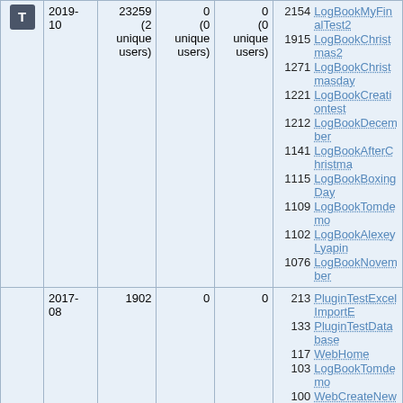|  | Date | Views | Edits | Attachments | Top pages |
| --- | --- | --- | --- | --- | --- |
| T | 2019-10 | 23259 (2 unique users) | 0 (0 unique users) | 0 (0 unique users) | 2154 LogBookMyFinalTest2 / 1915 LogBookChristmas2 / 1271 LogBookChristmasday / 1221 LogBookCreationtest / 1212 LogBookDecember / 1141 LogBookAfterChristma... / 1115 LogBookBoxingDay / 1109 LogBookTomdemo / 1102 LogBookAlexeyLyapin... / 1076 LogBookNovember |
|  | 2017-08 | 1902 | 0 | 0 | 213 PluginTestExcelImportE... / 133 PluginTestDatabase / 117 WebHome / 103 LogBookTomdemo / 100 WebCreateNewTopic / 71 LogBooksOverview / 70 WebPreferences / 60 PluginTestBatchUpload / 49 LogBookAfterChristmas / 32 LogBookMyFinalTest2 |
|  | 2013- | 558 | 0 | 0 | 211 WebCreateNewTopic |